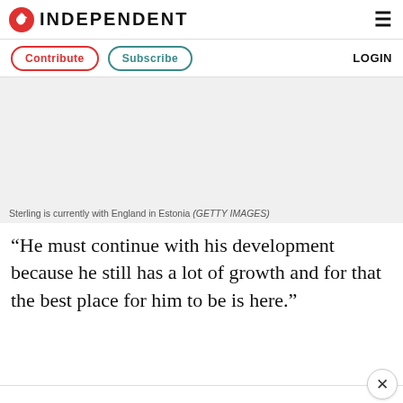INDEPENDENT
Contribute  Subscribe  LOGIN
[Figure (photo): Gray placeholder image area for a photo of Sterling with England in Estonia]
Sterling is currently with England in Estonia (GETTY IMAGES)
“He must continue with his development because he still has a lot of growth and for that the best place for him to be is here.”